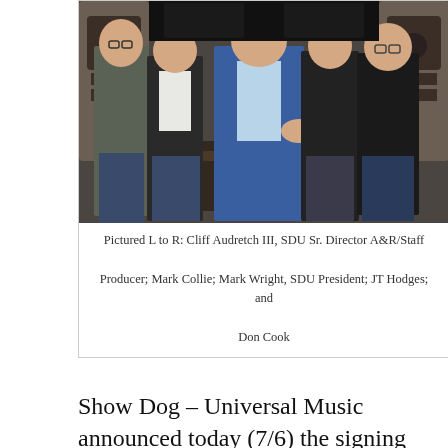[Figure (photo): Five men standing together in what appears to be a recording studio with large speakers visible in the background. They are smiling and shaking hands.]
Pictured L to R: Cliff Audretch III, SDU Sr. Director A&R/Staff Producer; Mark Collie; Mark Wright, SDU President; JT Hodges; and Don Cook
Show Dog – Universal Music announced today (7/6) the signing of JT Hodges. The Ft. Worth, Texas native is a singer, songwriter, and guitarist who hails from a